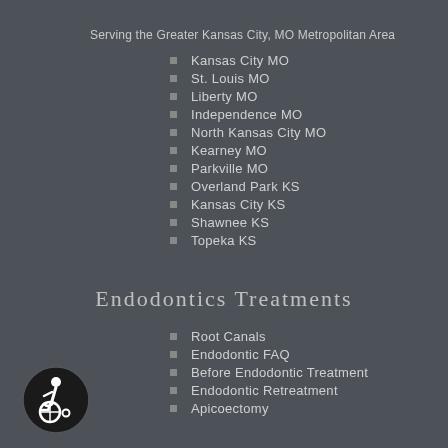Serving the Greater Kansas City, MO Metropolitan Area
Kansas City MO
St. Louis MO
Liberty MO
Independence MO
North Kansas City MO
Kearney MO
Parkville MO
Overland Park KS
Kansas City KS
Shawnee KS
Topeka KS
Endodontics Treatments
Root Canals
Endodontic FAQ
Before Endodontic Treatment
Endodontic Retreatment
Apicoectomy